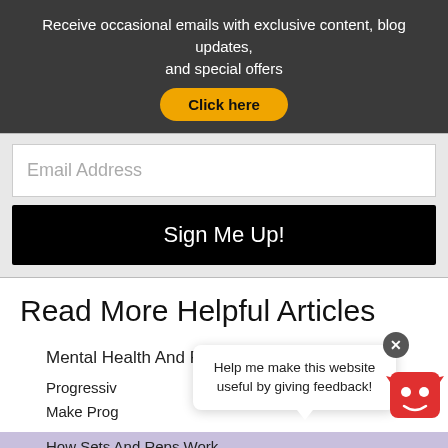Receive occasional emails with exclusive content, blog updates, and special offers
Click here
Email Address
Sign Me Up!
Read More Helpful Articles
Mental Health And Fitness
Progressive
Make Prog
Help me make this website useful by giving feedback!
How Sets And Reps Work